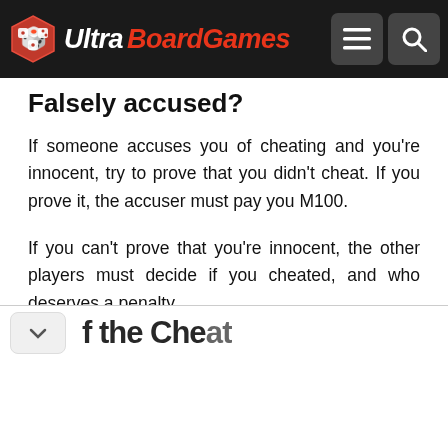UltraBoardGames
Falsely accused?
If someone accuses you of cheating and you're innocent, try to prove that you didn't cheat. If you prove it, the accuser must pay you M100.
If you can't prove that you're innocent, the other players must decide if you cheated, and who deserves a penalty.